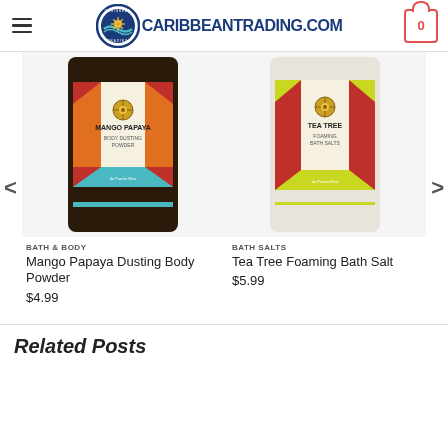CARIBBEANTRADING.COM
[Figure (photo): Mango Papaya Body Dusting Powder product bag with colorful Caribbean Trading label]
[Figure (photo): Tea Tree Foaming Bath Salts product bag with colorful Caribbean Trading label]
BATH & BODY
Mango Papaya Dusting Body Powder
$4.99
BATH SALTS
Tea Tree Foaming Bath Salt
$5.99
Related Posts